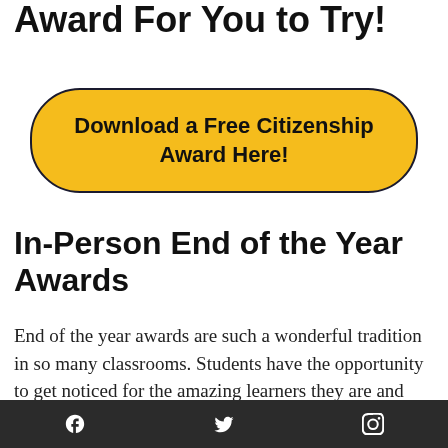Award For You to Try!
Download a Free Citizenship Award Here!
In-Person End of the Year Awards
End of the year awards are such a wonderful tradition in so many classrooms. Students have the opportunity to get noticed for the amazing learners they are and the positive character traits they exhibit. After this challenging year, a celebration is needed!
f  •  𝒛  •  ℙ